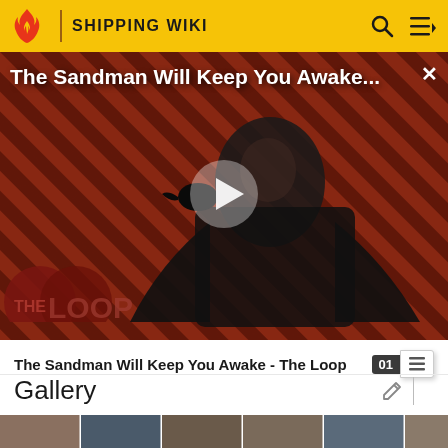SHIPPING WIKI
[Figure (screenshot): Video thumbnail for 'The Sandman Will Keep You Awake - The Loop' showing a dark-robed figure with a crow against a red and black diagonal stripe background, with a play button overlay and The Loop watermark]
The Sandman Will Keep You Awake - The Loop
Gallery
Fan Art